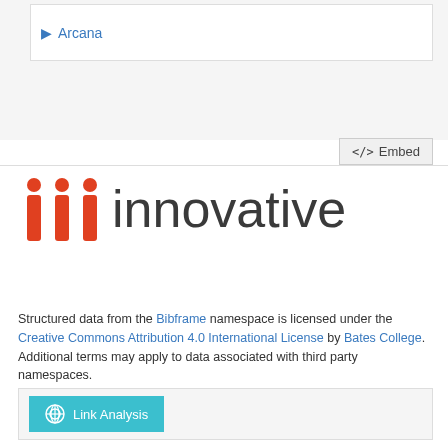Arcana
</>  Embed
[Figure (logo): Innovative Interfaces logo with three red vertical bar icons and the word 'innovative' in dark gray]
Structured data from the Bibframe namespace is licensed under the Creative Commons Attribution 4.0 International License by Bates College. Additional terms may apply to data associated with third party namespaces.
Link Analysis